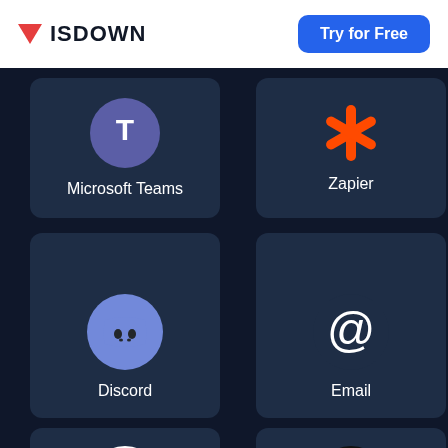ISDOWN  Try for Free
[Figure (screenshot): Grid of service integration cards: Microsoft Teams, Zapier, Discord, Email, Webhooks, LogSnag on dark background]
Microsoft Teams
Zapier
Discord
Email
Webhooks
LogSnag